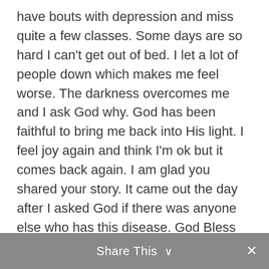have bouts with depression and miss quite a few classes. Some days are so hard I can't get out of bed. I let a lot of people down which makes me feel worse. The darkness overcomes me and I ask God why. God has been faithful to bring me back into His light. I feel joy again and think I'm ok but it comes back again. I am glad you shared your story. It came out the day after I asked God if there was anyone else who has this disease. God Bless You and Keep you and May His face shine upon you..In service of our King
Share This ∨  ×